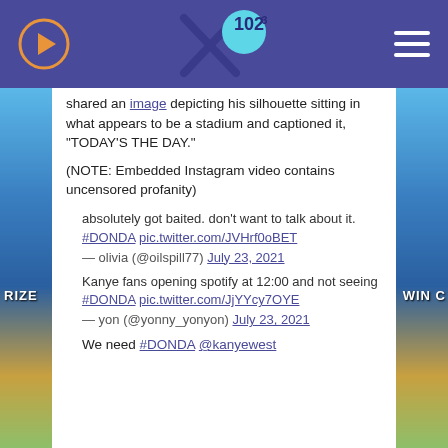X102.3 radio website header with play button, logo, and hamburger menu
shared an image depicting his silhouette sitting in what appears to be a stadium and captioned it, “TODAY’S THE DAY.”
(NOTE: Embedded Instagram video contains uncensored profanity)
absolutely got baited. don’t want to talk about it. #DONDA pic.twitter.com/JVHrf0oBET
— olivia (@oilspill77) July 23, 2021
Kanye fans opening spotify at 12:00 and not seeing #DONDA pic.twitter.com/JjYYcy7OYE
— yon (@yonny_yonyon) July 23, 2021
We need #DONDA @kanyewest